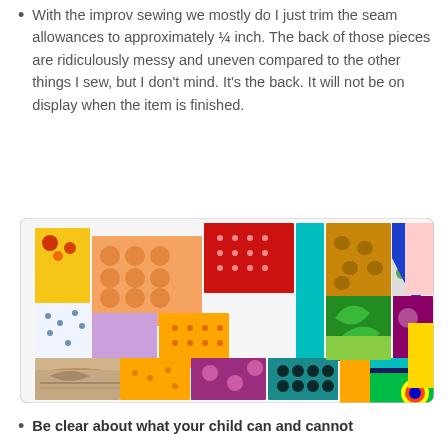With the improv sewing we mostly do I just trim the seam allowances to approximately ¼ inch. The back of those pieces are ridiculously messy and uneven compared to the other things I sew, but I don't mind. It's the back. It will not be on display when the item is finished.
[Figure (photo): A colorful collection of fabric swatches and quilt blocks arranged on a white surface, showing various patterns, colors and textures including florals, dots, solids and geometric prints.]
Be clear about what your child can and cannot